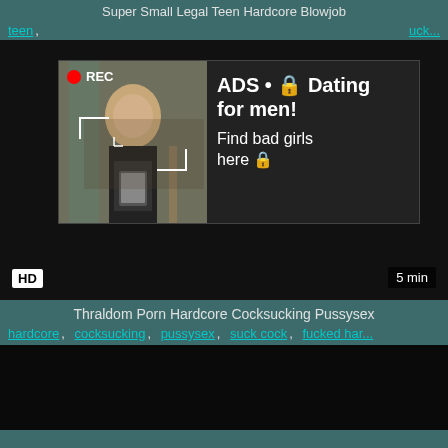Super Small Legal Teen Hardcore Blowjob
teen, ... uck...
[Figure (screenshot): Video player with ad overlay showing a person taking a selfie, REC badge, viewfinder overlay, and dating advertisement text: ADS • Dating for men! Find bad girls here. HD badge bottom left, 5 min duration bottom right.]
Thraldom Porn Hardcore Cocksucking Pussysex
hardcore, cocksucking, pussysex, suck cock, fucked har...
[Figure (screenshot): Dark video player thumbnail for second video]